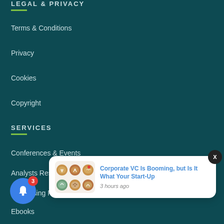LEGAL & PRIVACY
Terms & Conditions
Privacy
Cookies
Copyright
SERVICES
Conferences & Events
Analysts Research
Advertising Rate
Ebooks
[Figure (screenshot): Notification popup with coffee images and article title 'Corporate VC Is Booming, but Is It What Your Start-Up' posted 3 hours ago, with a close X button]